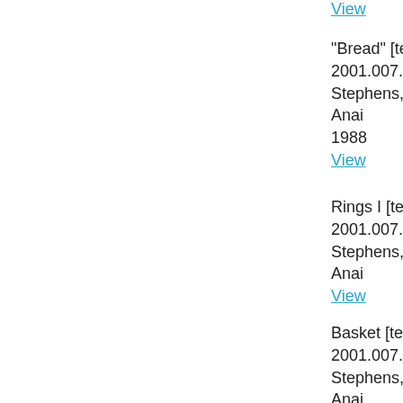View
"Bread" [test]
2001.007.238
Stephens, Anai
1988
View
Rings I [test]
2001.007.241
Stephens, Anai
View
Basket [test]
2001.007.242
Stephens, Anai
1987
View
Basket [test]
2001.007.244
Stephens, Anai
1987
View
Basket [test]